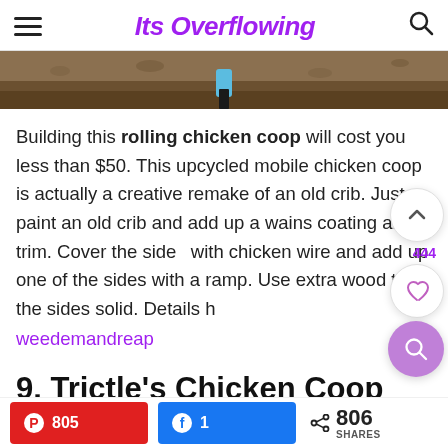Its Overflowing
[Figure (photo): Close-up photo of dirt ground with a blue bottle/container partially buried, shot from ground level. Dark soil terrain.]
Building this rolling chicken coop will cost you less than $50. This upcycled mobile chicken coop is actually a creative remake of an old crib. Just paint an old crib and add up a wains coating and trim. Cover the sides with chicken wire and add up one of the sides with a ramp. Use extra wood to fill the sides solid. Details here
weedemandreap
9. Trictle's Chicken Coop Plan
805  1  806 SHARES